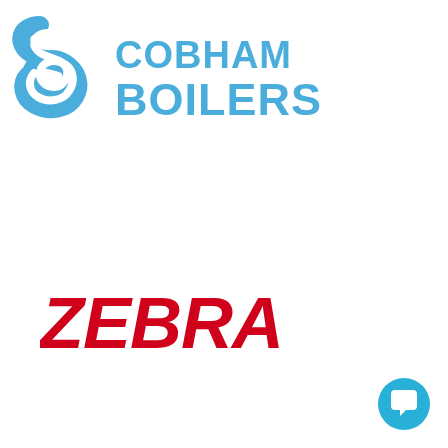[Figure (logo): Cobham Boilers logo: a blue stylized 'S' swirl icon on the left, and the text 'COBHAM BOILERS' in bold blue uppercase letters on the right]
[Figure (logo): ZEBRA logo in bold red uppercase italic letters]
[Figure (other): Circular blue chat/message icon button in the bottom-right corner]